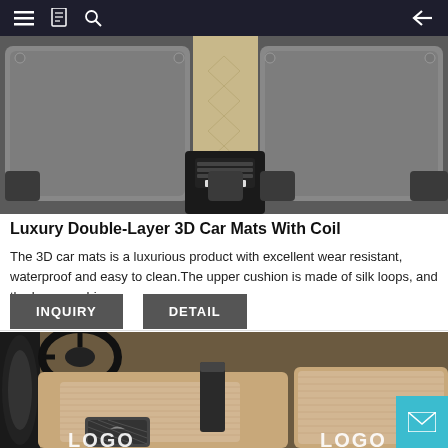Navigation bar with menu, bookmarks, search icons and back arrow
[Figure (photo): Top-down view of luxury double-layer 3D car floor mats with beige and gray color scheme, showing rear seat area with center console vent]
Luxury Double-Layer 3D Car Mats With Coil
The 3D car mats is a luxurious product with excellent wear resistant, waterproof and easy to clean.The upper cushion is made of silk loops, and the lower cushion
INQUIRY
DETAIL
[Figure (photo): Interior car view showing beige luxury double-layer 3D floor mats with coil layer on top, steering wheel visible, with LOGO text on mats]